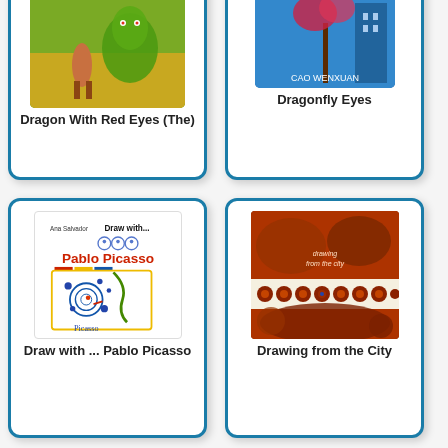[Figure (illustration): Book card for Dragon With Red Eyes (The) - partially visible at top]
Dragon With Red Eyes (The)
[Figure (illustration): Book card for Dragonfly Eyes - partially visible at top]
Dragonfly Eyes
[Figure (illustration): Book card for Draw with ... Pablo Picasso - full card visible]
Draw with ... Pablo Picasso
[Figure (illustration): Book card for Drawing from the City - full card visible]
Drawing from the City
[Figure (illustration): Partially visible book cards at bottom row]